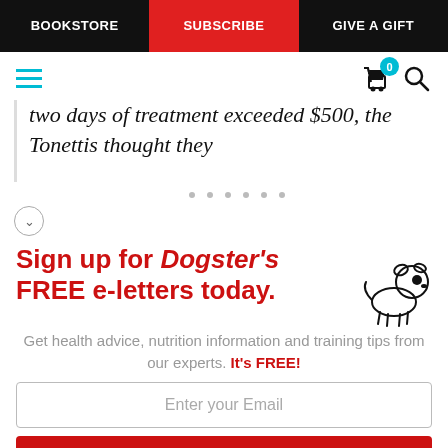BOOKSTORE | SUBSCRIBE | GIVE A GIFT
two days of treatment exceeded $500, the Tonettis thought they
Sign up for Dogster's FREE e-letters today. Get health advice, nutrition information and training tips from our experts. It's FREE!
Enter your Email
YES! SIGN ME UP